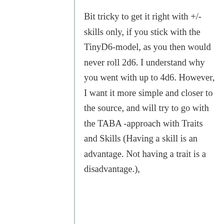Bit tricky to get it right with +/- skills only, if you stick with the TinyD6-model, as you then would never roll 2d6. I understand why you went with up to 4d6. However, I want it more simple and closer to the source, and will try to go with the TABA -approach with Traits and Skills (Having a skill is an advantage. Not having a trait is a disadvantage.),